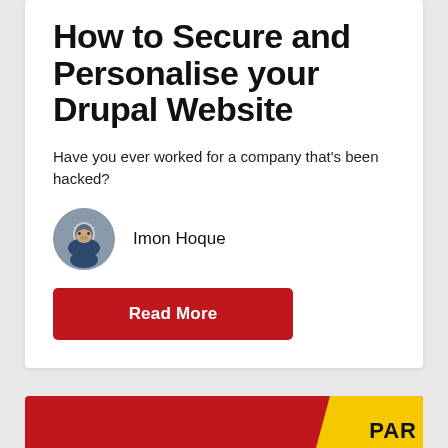How to Secure and Personalise your Drupal Website
Have you ever worked for a company that's been hacked?
Imon Hoque
[Figure (other): Red button with white bold text 'Read More']
[Figure (other): Bottom red card with yellow diagonal stripe and partial text 'PAR']